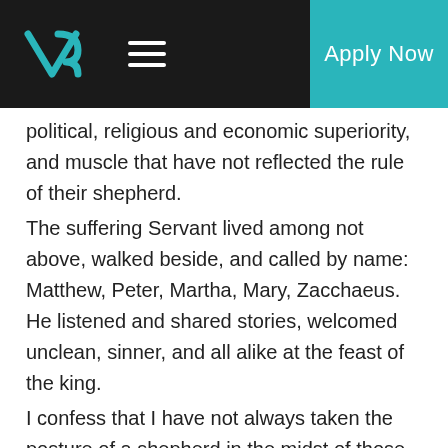V3 | Apply Now
political, religious and economic superiority, and muscle that have not reflected the rule of their shepherd.
The suffering Servant lived among not above, walked beside, and called by name: Matthew, Peter, Martha, Mary, Zacchaeus. He listened and shared stories, welcomed unclean, sinner, and all alike at the feast of the king.
I confess that I have not always taken the posture of a shepherd in the midst of those who need to hear the Lord call them by name. I have tried to poke and prod, argue and convict. I have judged, ignored and denied. I have had to ask the Spirit to show